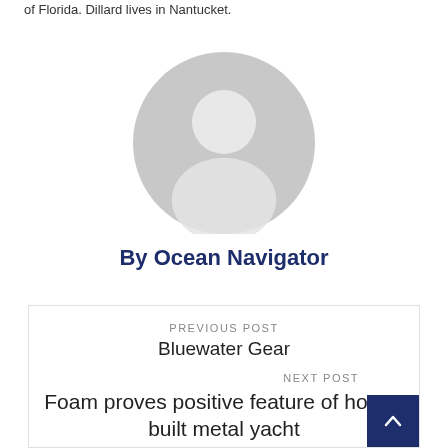of Florida. Dillard lives in Nantucket.
[Figure (illustration): Generic gray user/person avatar icon - circular silhouette of a person placeholder image]
By Ocean Navigator
PREVIOUS POST
Bluewater Gear
NEXT POST
Foam proves positive feature of home-built metal yacht